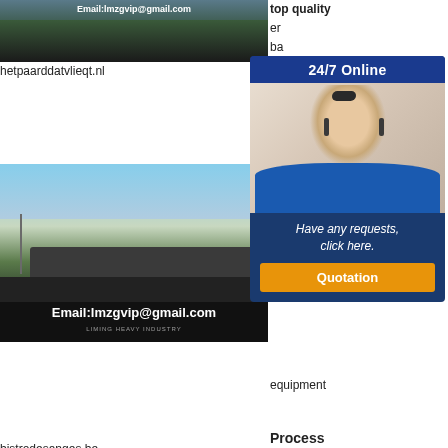[Figure (photo): Top partial image of industrial/mining equipment with email overlay: Email:lmzgvip@gmail.com]
hetpaarddatvlieqt.nl
[Figure (photo): Mining/quarry site with large crushing equipment, dark aggregate piles, sky background. Overlay text: Email:lmzgvip@gmail.com and LIMING HEAVY INDUSTRY]
[Figure (photo): Lower mining/quarry site image with crushing equipment and dark aggregate piles. Overlay text: Email:lmzgvip@gmail.com and LIMING HEAVY INDUSTRY]
bistrodesanges.be
top quality
er
ba
pr
m
sa
Be
Ma
Eq
ba
pr
m
equipment
[Figure (infographic): 24/7 Online popup widget with customer service representative photo, text 'Have any requests, click here.' and orange Quotation button]
Process